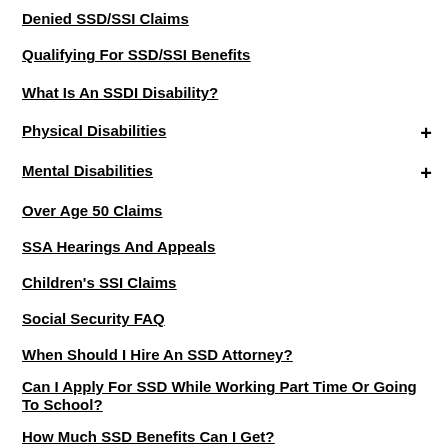Denied SSD/SSI Claims
Qualifying For SSD/SSI Benefits
What Is An SSDI Disability?
Physical Disabilities
Mental Disabilities
Over Age 50 Claims
SSA Hearings And Appeals
Children's SSI Claims
Social Security FAQ
When Should I Hire An SSD Attorney?
Can I Apply For SSD While Working Part Time Or Going To School?
How Much SSD Benefits Can I Get?
What Can I Do To Improve My SSD Claim?